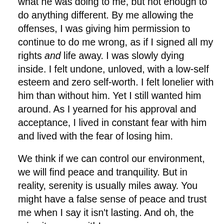what he was doing to me, but not enough to do anything different. By me allowing the offenses, I was giving him permission to continue to do me wrong, as if I signed all my rights and life away. I was slowly dying inside. I felt undone, unloved, with a low-self esteem and zero self-worth. I felt lonelier with him than without him. Yet I still wanted him around. As I yearned for his approval and acceptance, I lived in constant fear with him and lived with the fear of losing him.
We think if we can control our environment, we will find peace and tranquility. But in reality, serenity is usually miles away. You might have a false sense of peace and trust me when I say it isn't lasting. And oh, the price it comes with!
I'm no psychologist, nor am I a psychiatrist. But I also think there's another side to this spectrum. Sometimes a person